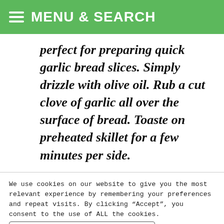MENU & SEARCH
perfect for preparing quick garlic bread slices. Simply drizzle with olive oil. Rub a cut clove of garlic all over the surface of bread. Toaste on preheated skillet for a few minutes per side.
We use cookies on our website to give you the most relevant experience by remembering your preferences and repeat visits. By clicking “Accept”, you consent to the use of ALL the cookies.
Do not sell my personal information
Cookie Settings   Accept